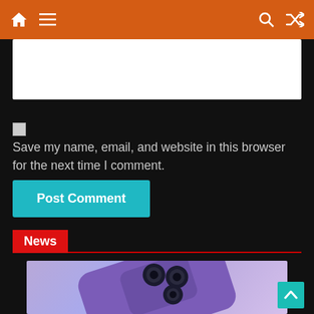Navigation bar with home, menu, search, and shuffle icons
Save my name, email, and website in this browser for the next time I comment.
Post Comment
News
[Figure (photo): Purple iPhone with triple camera system shown at an angle against a light purple/lavender gradient background]